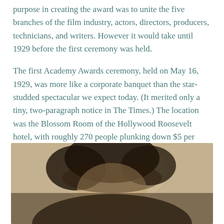purpose in creating the award was to unite the five branches of the film industry, actors, directors, producers, technicians, and writers. However it would take until 1929 before the first ceremony was held.
The first Academy Awards ceremony, held on May 16, 1929, was more like a corporate banquet than the star-studded spectacular we expect today. (It merited only a tiny, two-paragraph notice in The Times.) The location was the Blossom Room of the Hollywood Roosevelt hotel, with roughly 270 people plunking down $5 per ticket. “It was just a family affair,” Janet Gaynor, winner of the first Academy Award for best actress, told The Times in 1982.
[Figure (photo): Black and white portrait photograph of a woman with dark curled hair, cropped to show head and shoulders, sepia-toned.]